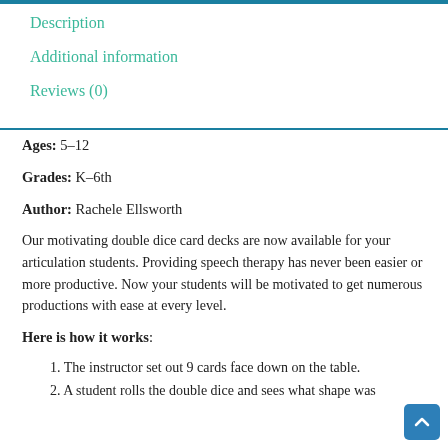Description
Additional information
Reviews (0)
Ages: 5–12
Grades: K–6th
Author: Rachele Ellsworth
Our motivating double dice card decks are now available for your articulation students. Providing speech therapy has never been easier or more productive. Now your students will be motivated to get numerous productions with ease at every level.
Here is how it works:
1. The instructor set out 9 cards face down on the table.
2. A student rolls the double dice and sees what shape was